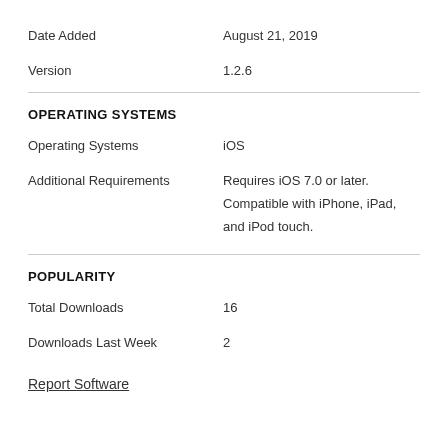Date Added: August 21, 2019
Version: 1.2.6
OPERATING SYSTEMS
Operating Systems: iOS
Additional Requirements: Requires iOS 7.0 or later. Compatible with iPhone, iPad, and iPod touch.
POPULARITY
Total Downloads: 16
Downloads Last Week: 2
Report Software